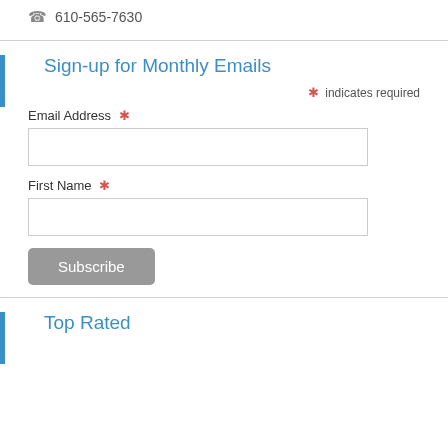610-565-7630
Sign-up for Monthly Emails
* indicates required
Email Address *
First Name *
Subscribe
Top Rated